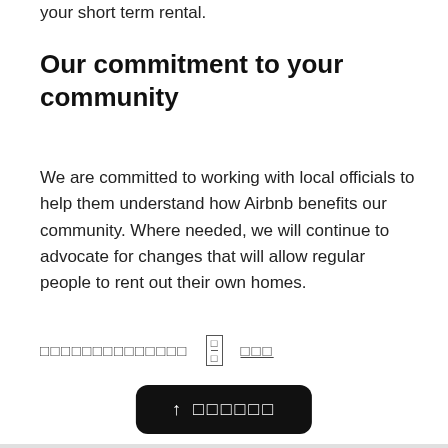your short term rental.
Our commitment to your community
We are committed to working with local officials to help them understand how Airbnb benefits our community. Where needed, we will continue to advocate for changes that will allow regular people to rent out their own homes.
□□□□□□□□□□□□□□  □/□  □□□
↑ □□□□□□